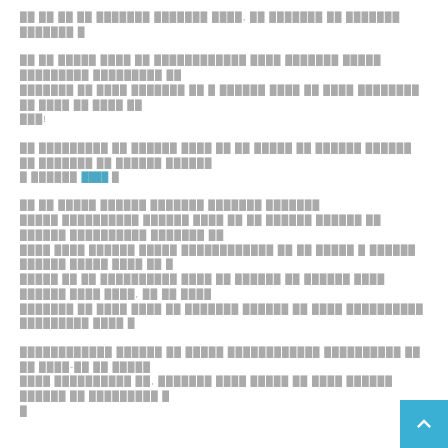[Redacted/blurred text block 1 - first paragraph]
[Redacted/blurred text block 2 - second paragraph with exclamation]
[Redacted/blurred text block 3 - third paragraph with hyperlink]
[Redacted section header]
[Redacted/blurred text block 4 - long paragraph]
[Redacted/blurred text block 5 - bottom paragraph, cut off]